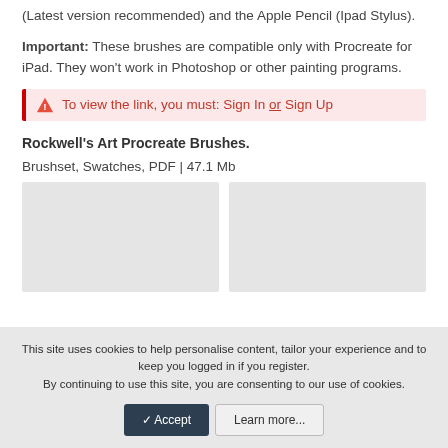(Latest version recommended) and the Apple Pencil (Ipad Stylus).
Important: These brushes are compatible only with Procreate for iPad. They won't work in Photoshop or other painting programs.
To view the link, you must: Sign In or Sign Up
Rockwell's Art Procreate Brushes.
Brushset, Swatches, PDF | 47.1 Mb
[Figure (photo): Two image placeholders side by side (gray rectangles)]
This site uses cookies to help personalise content, tailor your experience and to keep you logged in if you register.
By continuing to use this site, you are consenting to our use of cookies.